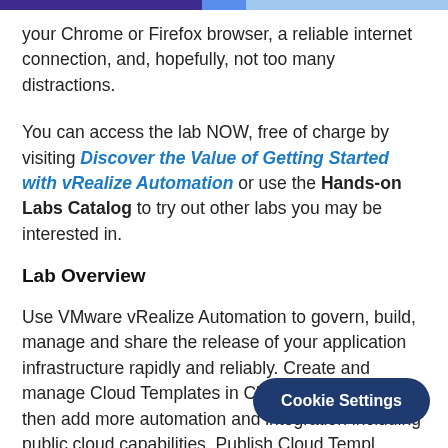your Chrome or Firefox browser, a reliable internet connection, and, hopefully, not too many distractions.
You can access the lab NOW, free of charge by visiting Discover the Value of Getting Started with vRealize Automation or use the Hands-on Labs Catalog to try out other labs you may be interested in.
Lab Overview
Use VMware vRealize Automation to govern, build, manage and share the release of your application infrastructure rapidly and reliably. Create and manage Cloud Templates in Cloud Assembly and then add more automation and integration including public cloud capabilities. Publish Cloud Templ capabilities, developed in Cloud